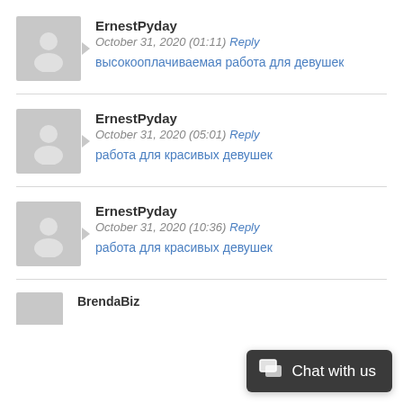ErnestPyday
October 31, 2020 (01:11) Reply
высокооплачиваемая работа для девушек
ErnestPyday
October 31, 2020 (05:01) Reply
работа для красивых девушек
ErnestPyday
October 31, 2020 (10:36) Reply
работа для красивых девушек
BrendaBiz
Chat with us